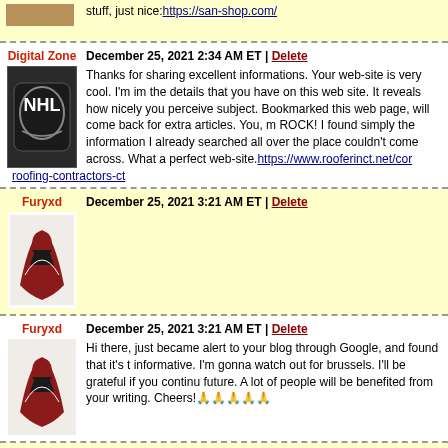[Figure (screenshot): Partial comment block at top, avatar image partially visible, link text visible]
stuff, just nice: https://san-shop.com/
Digital Zone | December 25, 2021 2:34 AM ET | Delete
[Figure (logo): NHL shield logo avatar for Digital Zone]
Thanks for sharing excellent informations. Your web-site is very cool. I'm impressed by the details that you have on this web site. It reveals how nicely you perceive this subject. Bookmarked this web page, will come back for extra articles. You, my friend, ROCK! I found simply the information I already searched all over the place and just couldn't come across. What a perfect web-site. https://www.rooferinct.net/con... roofing-contractors-ct
Furyxd | December 25, 2021 3:21 AM ET | Delete
[Figure (logo): Arizona Coyotes logo avatar for Furyxd]
Furyxd | December 25, 2021 3:21 AM ET | Delete
[Figure (logo): Arizona Coyotes logo avatar for Furyxd]
Hi there, just became alert to your blog through Google, and found that it's truly informative. I'm gonna watch out for brussels. I'll be grateful if you continue this in future. A lot of people will be benefited from your writing. Cheers!🙏🙏🙏🙏🙏
uzairkhatri | December 25, 2021 3:43 AM ET | Delete
[Figure (logo): Avatar image for uzairkhatri (partially visible)]
elton john can be only be the best singer and composer that i know. i like the...